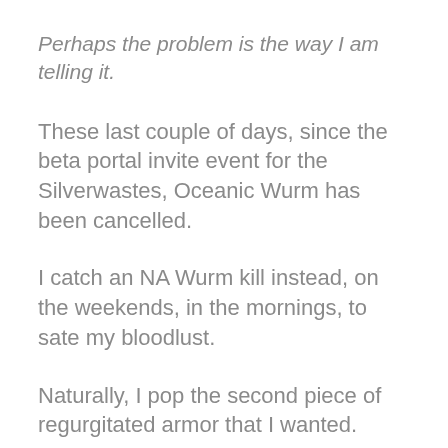Perhaps the problem is the way I am telling it.
These last couple of days, since the beta portal invite event for the Silverwastes, Oceanic Wurm has been cancelled.
I catch an NA Wurm kill instead, on the weekends, in the mornings, to sate my bloodlust.
Naturally, I pop the second piece of regurgitated armor that I wanted.
I've killed OCE Wurm for months now with